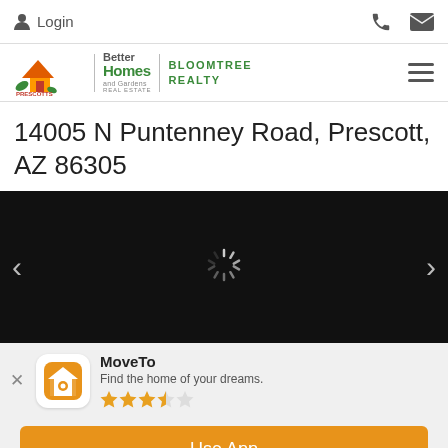Login
[Figure (logo): Prescotts Better Homes and Gardens Real Estate Bloomtree Realty logo]
14005 N Puntenney Road, Prescott, AZ 86305
[Figure (photo): Dark/black photo area with loading spinner and left/right navigation arrows]
MoveTo - Find the home of your dreams. 3.5 star rating
Use App